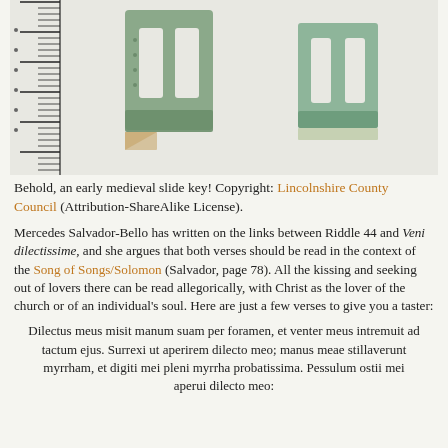[Figure (photo): Photo of two early medieval slide keys, bronze/metal artifacts with U-shaped forms, shown next to a measurement ruler on the left side. White background.]
Behold, an early medieval slide key! Copyright: Lincolnshire County Council (Attribution-ShareAlike License).
Mercedes Salvador-Bello has written on the links between Riddle 44 and Veni dilectissime, and she argues that both verses should be read in the context of the Song of Songs/Solomon (Salvador, page 78). All the kissing and seeking out of lovers there can be read allegorically, with Christ as the lover of the church or of an individual's soul. Here are just a few verses to give you a taster:
Dilectus meus misit manum suam per foramen, et venter meus intremuit ad tactum ejus. Surrexi ut aperirem dilecto meo; manus meae stillaverunt myrrham, et digiti mei pleni myrrha probatissima. Pessulum ostii mei aperui dilecto meo: